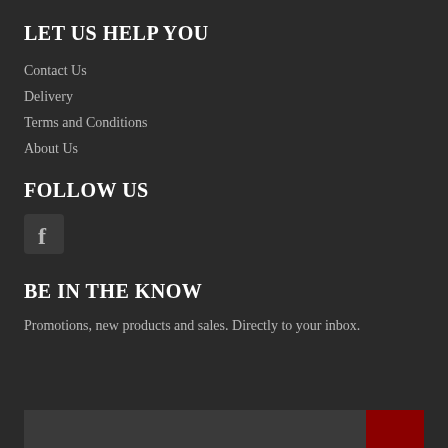LET US HELP YOU
Contact Us
Delivery
Terms and Conditions
About Us
FOLLOW US
[Figure (logo): Facebook icon (f)]
BE IN THE KNOW
Promotions, new products and sales. Directly to your inbox.